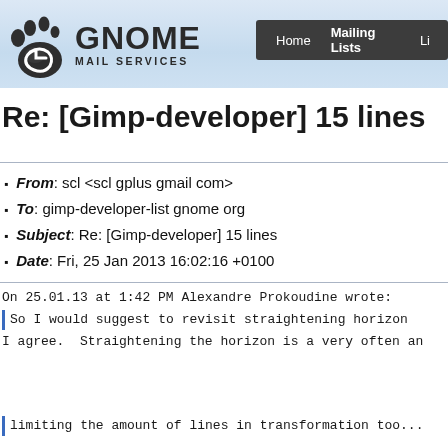GNOME MAIL SERVICES — Home | Mailing Lists | Li...
Re: [Gimp-developer] 15 lines
From: scl <scl gplus gmail com>
To: gimp-developer-list gnome org
Subject: Re: [Gimp-developer] 15 lines
Date: Fri, 25 Jan 2013 16:02:16 +0100
On 25.01.13 at 1:42 PM Alexandre Prokoudine wrote:
> So I would suggest to revisit straightening horizon...
I agree. Straightening the horizon is a very often an...
limiting the amount of lines in transformation too...